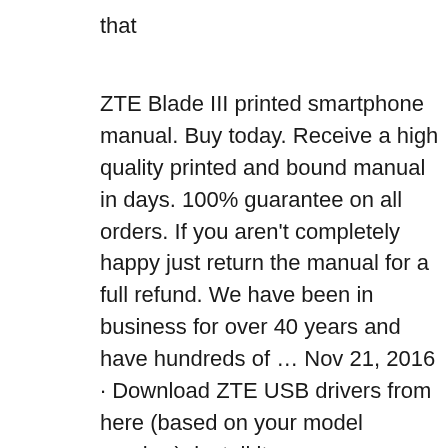that
ZTE Blade III printed smartphone manual. Buy today. Receive a high quality printed and bound manual in days. 100% guarantee on all orders. If you aren't completely happy just return the manual for a full refund. We have been in business for over 40 years and have hundreds of … Nov 21, 2016 · Download ZTE USB drivers from here (based on your model number), install it on your computer and connect ZTE device with PC or Laptop successfully. Since ZTE doesn't offer PC suite software, downloading and installing the USB driver on your computer is the only way to connect your ZTE smartphone or